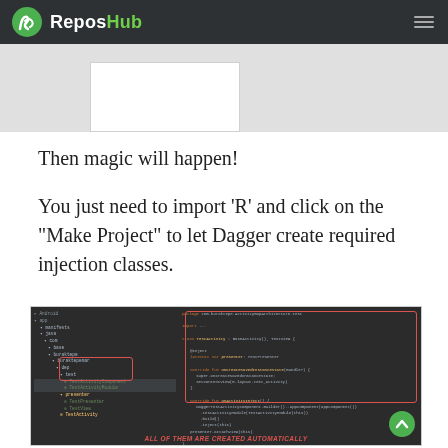ReposHub
[Figure (screenshot): Partial screenshot showing a white panel at top, cut off from previous page section]
Then magic will happen!
You just need to import 'R' and click on the "Make Project" to let Dagger create required injection classes.
[Figure (screenshot): IDE screenshot showing Android Studio with a file tree on the left (TestActivityComponent and TestActivityModule highlighted in red box, presenter folder with TestPresenter and TestView) and code editor on the right showing TestActivity.kt with package, import, class definition and onActivityInject method with DaggerTestActivityComponent.Builder. Red boxes highlight key files and code. Bottom label reads ALL OF THEM ARE CREATED AUTOMATICALLY.]